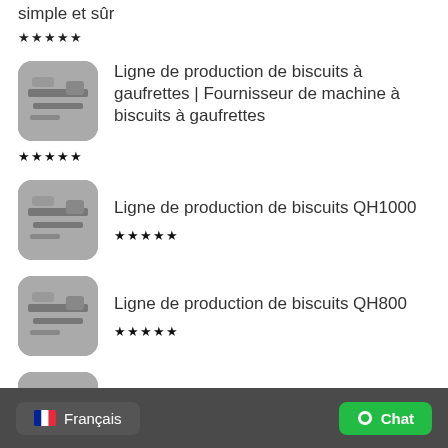simple et sûr
★★★★★
[Figure (photo): Thumbnail image of wafer biscuit production line machinery, grayscale, rounded corners]
Ligne de production de biscuits à gaufrettes | Fournisseur de machine à biscuits à gaufrettes
★★★★★
[Figure (photo): Thumbnail image of QH1000 biscuit production line machinery, grayscale, rounded corners]
Ligne de production de biscuits QH1000
★★★★★
[Figure (photo): Thumbnail image of QH800 biscuit production line machinery, grayscale, rounded corners]
Ligne de production de biscuits QH800
★★★★★
[Figure (photo): Thumbnail image of QH600 biscuit production line machinery, grayscale, rounded corners]
Ligne de production de biscuits QH600
★★★★★
🇫🇷 Français   ● Chat